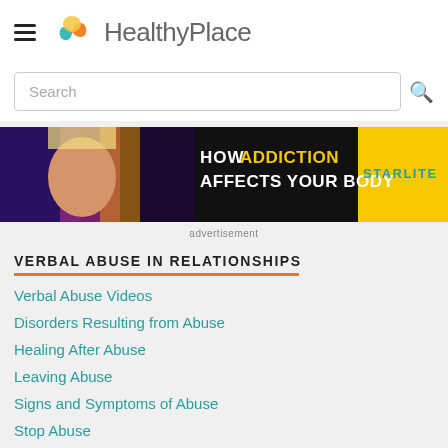HealthyPlace
Search
[Figure (infographic): Advertisement banner: HOW ADDICTION AFFECTS YOUR BODY - Starlite, showing a woman's face with dramatic colorful lighting on the left side, black background with bold white and yellow text in the center, and a yellow panel on the right with teal STARLITE text.]
advertisement
VERBAL ABUSE IN RELATIONSHIPS
Verbal Abuse Videos
Disorders Resulting from Abuse
Healing After Abuse
Leaving Abuse
Signs and Symptoms of Abuse
Stop Abuse
About Verbal Abuse in Relationships Authors